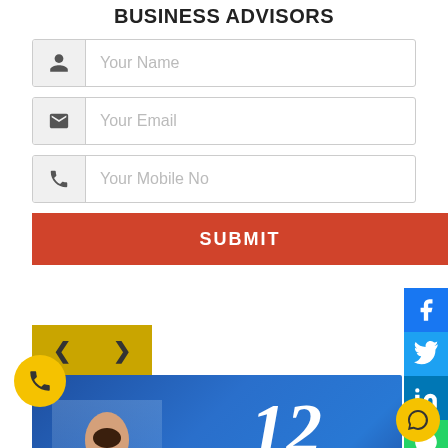BUSINESS ADVISORS
Your Name
Your Email
Your Mobile No
SUBMIT
[Figure (infographic): Banner image showing a woman with headset and text '12 Important facts on GST Composition Scheme' on a blue background with social sharing icons (Facebook, Twitter, LinkedIn, WhatsApp) on the right side.]